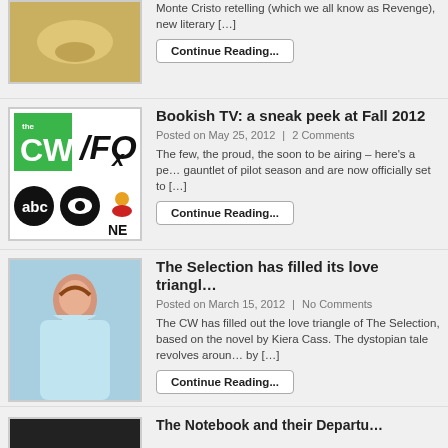[Figure (photo): Partial image at top, appears to show a golden/bronze object]
Monte Cristo retelling (which we all know as Revenge), new literary […]
Continue Reading...
[Figure (logo): TV network logos: CW, FOX, ABC, CBS, NBC]
Bookish TV: a sneak peek at Fall 2012
Posted on May 25, 2012  |  2 Comments
The few, the proud, the soon to be airing – here's a peek at shows that survived the gauntlet of pilot season and are now officially set to […]
Continue Reading...
[Figure (photo): Young woman with red hair in a light blue/teal dress outdoors]
The Selection has filled its love triangle
Posted on March 15, 2012  |  No Comments
The CW has filled out the love triangle of The Selection, based on the novel by Kiera Cass. The dystopian tale revolves around by […]
Continue Reading...
[Figure (photo): Partial dark image at bottom]
The Notebook and their Departu...